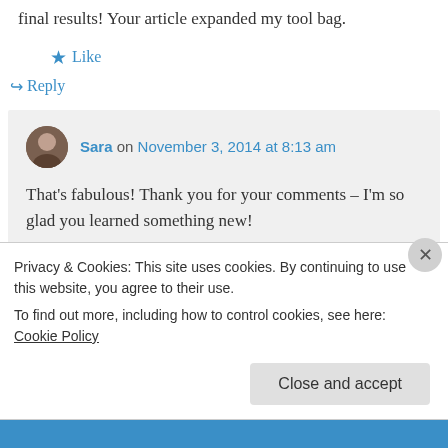final results! Your article expanded my tool bag.
★ Like
↪ Reply
Sara on November 3, 2014 at 8:13 am
That's fabulous! Thank you for your comments – I'm so glad you learned something new!
Privacy & Cookies: This site uses cookies. By continuing to use this website, you agree to their use.
To find out more, including how to control cookies, see here: Cookie Policy
Close and accept